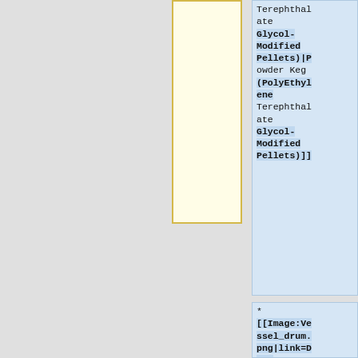[Figure (other): Yellow-bordered box (container/vessel icon placeholder) in the middle column]
Terephthalate Glycol-Modified Pellets)|Powder Keg (PolyEthylene Terephthalate Glycol-Modified Pellets)]]
* [[Image:Vessel_drum.png|link=Drum (Deionized Water)|32px|alt=Drum